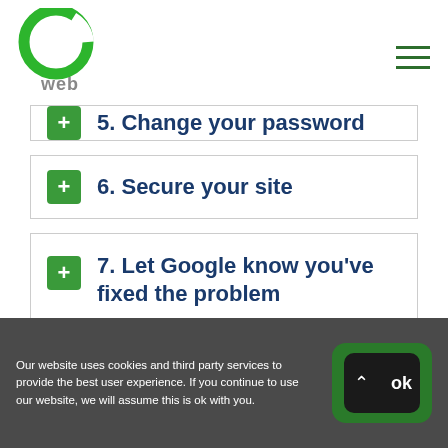go web logo and navigation
5. Change your password (partially visible)
6. Secure your site
7. Let Google know you've fixed the problem
Our website uses cookies and third party services to provide the best user experience. If you continue to use our website, we will assume this is ok with you. OK